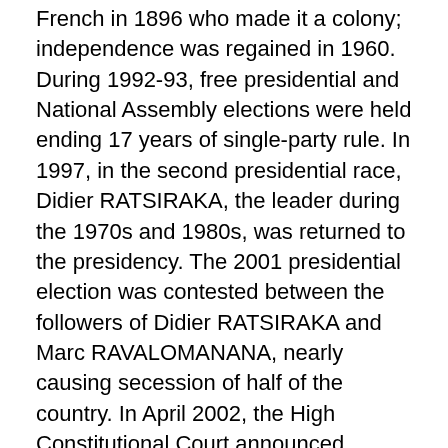French in 1896 who made it a colony; independence was regained in 1960. During 1992-93, free presidential and National Assembly elections were held ending 17 years of single-party rule. In 1997, in the second presidential race, Didier RATSIRAKA, the leader during the 1970s and 1980s, was returned to the presidency. The 2001 presidential election was contested between the followers of Didier RATSIRAKA and Marc RAVALOMANANA, nearly causing secession of half of the country. In April 2002, the High Constitutional Court announced RAVALOMANANA the winner. RAVALOMANANA won a second term in 2006 but, following protests in 2009, handed over power to the military, which then conferred the presidency on the mayor of Antananarivo, Andry RAJOELINA, in what amounted to a coup d'etat. Following a lengthy mediation process led by the Southern African Development Community, Madagascar held UN-supported presidential and parliamentary elections in 2013. Former de facto finance minister Hery RAJAONARIMAMPIANINA won a runoff